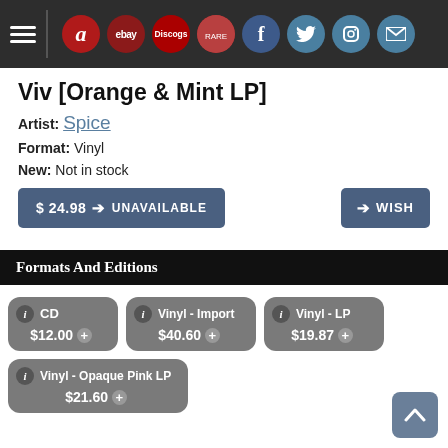Navigation bar with hamburger menu and icons: Amazon, eBay, Discogs, social media (Facebook, Twitter, Instagram, Mail)
Viv [Orange & Mint LP]
Artist: Spice
Format: Vinyl
New: Not in stock
$ 24.98 + UNAVAILABLE | + WISH
Formats And Editions
CD $12.00 +
Vinyl - Import $40.60 +
Vinyl - LP $19.87 +
Vinyl - Opaque Pink LP $21.60 +